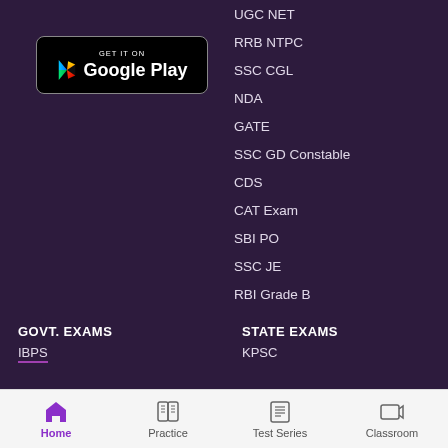[Figure (logo): Google Play Store badge - black rounded rectangle with GET IT ON Google Play text and play icon]
UGC NET
RRB NTPC
SSC CGL
NDA
GATE
SSC GD Constable
CDS
CAT Exam
SBI PO
SSC JE
RBI Grade B
IBPS PO
IBPS Clerk
CLAT Exam
GOVT. EXAMS
STATE EXAMS
IBPS
KPSC
Home | Practice | Test Series | Classroom